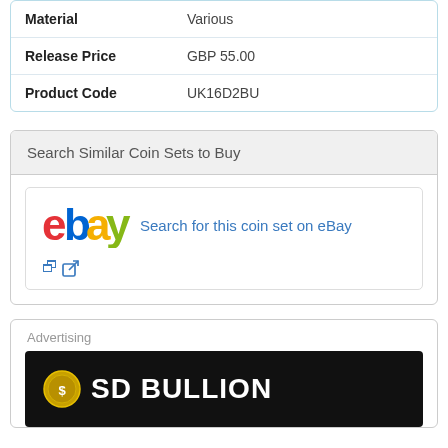| Field | Value |
| --- | --- |
| Material | Various |
| Release Price | GBP 55.00 |
| Product Code | UK16D2BU |
Search Similar Coin Sets to Buy
[Figure (logo): eBay logo with text 'Search for this coin set on eBay' and external link icon]
Advertising
[Figure (logo): SD Bullion banner advertisement with coin icon and bold white text on black background]